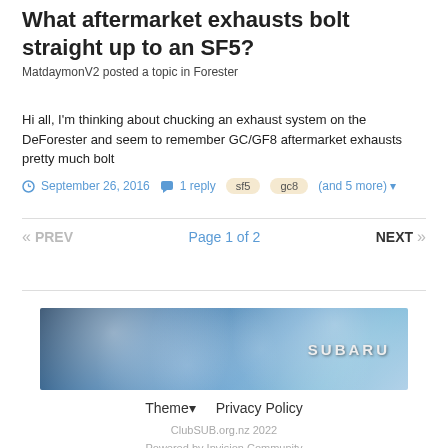What aftermarket exhausts bolt straight up to an SF5?
MatdaymonV2 posted a topic in Forester
Hi all, I'm thinking about chucking an exhaust system on the DeForester and seem to remember GC/GF8 aftermarket exhausts pretty much bolt
September 26, 2016  1 reply  sf5  gc8  (and 5 more)
PREV  Page 1 of 2  NEXT
[Figure (photo): Subaru advertisement banner showing a snowy winter scene with SUBARU logo on the right side]
Theme  Privacy Policy
ClubSUB.org.nz 2022
Powered by Invision Community